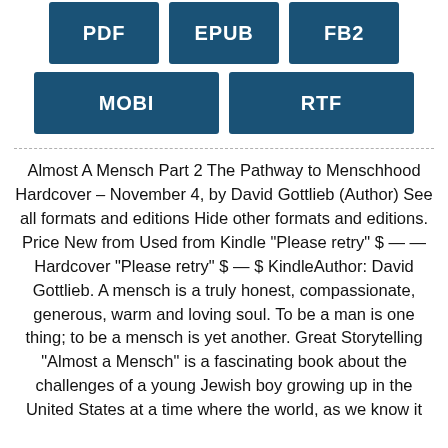[Figure (other): Row of three dark blue download format buttons: PDF, EPUB, FB2]
[Figure (other): Row of two dark blue download format buttons: MOBI, RTF]
Almost A Mensch Part 2 The Pathway to Menschhood Hardcover – November 4, by David Gottlieb (Author) See all formats and editions Hide other formats and editions. Price New from Used from Kindle "Please retry" $ — — Hardcover "Please retry" $ — $ KindleAuthor: David Gottlieb. A mensch is a truly honest, compassionate, generous, warm and loving soul. To be a man is one thing; to be a mensch is yet another. Great Storytelling "Almost a Mensch" is a fascinating book about the challenges of a young Jewish boy growing up in the United States at a time where the world, as we know it